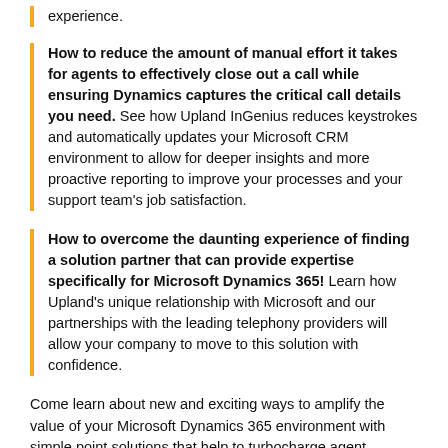experience.
How to reduce the amount of manual effort it takes for agents to effectively close out a call while ensuring Dynamics captures the critical call details you need. See how Upland InGenius reduces keystrokes and automatically updates your Microsoft CRM environment to allow for deeper insights and more proactive reporting to improve your processes and your support team's job satisfaction.
How to overcome the daunting experience of finding a solution partner that can provide expertise specifically for Microsoft Dynamics 365! Learn how Upland's unique relationship with Microsoft and our partnerships with the leading telephony providers will allow your company to move to this solution with confidence.
Come learn about new and exciting ways to amplify the value of your Microsoft Dynamics 365 environment with simple point solutions that help to turbocharge agent productivity and deliver more personalized customer support.